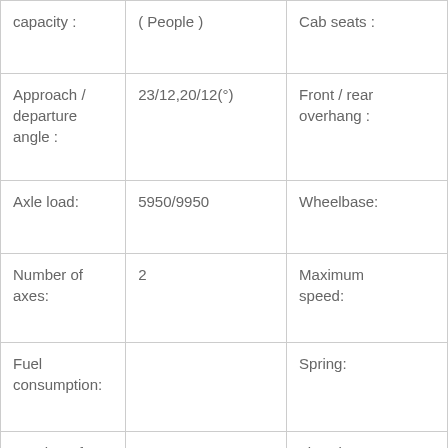| capacity : | ( People ) | Cab seats : |
| Approach /
departure
angle : | 23/12,20/12(°) | Front / rear
overhang : |
| Axle load: | 5950/9950 | Wheelbase: |
| Number of
axes: | 2 | Maximum
speed: |
| Fuel
consumption: |  | Spring: |
| Number of
tires : | 6 | Tire Size: |
| Front track: | 1920,1960 | Rear track: |
| Brake Front: |  | After braking
: |
|  |  | After |